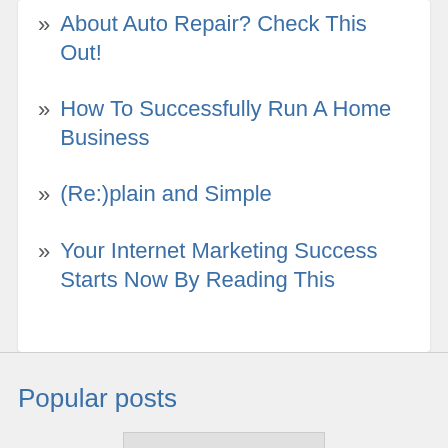About Auto Repair? Check This Out!
How To Successfully Run A Home Business
(Re:)plain and Simple
Your Internet Marketing Success Starts Now By Reading This
Popular posts
[Figure (screenshot): Thumbnail image showing a product listing with text 'over 4000 launches' and price '$39.00']